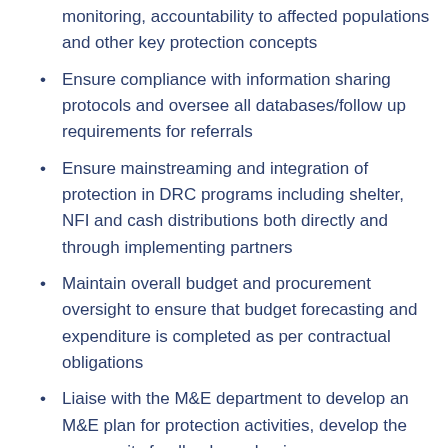monitoring, accountability to affected populations and other key protection concepts
Ensure compliance with information sharing protocols and oversee all databases/follow up requirements for referrals
Ensure mainstreaming and integration of protection in DRC programs including shelter, NFI and cash distributions both directly and through implementing partners
Maintain overall budget and procurement oversight to ensure that budget forecasting and expenditure is completed as per contractual obligations
Liaise with the M&E department to develop an M&E plan for protection activities, develop the community feedback mechanism, mon…